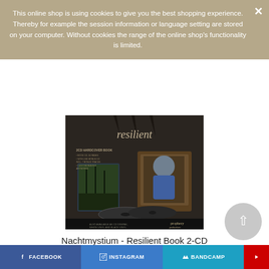This online shop is using cookies to give you the best shopping experience. Thereby for example the session information or language setting are stored on your computer. Without cookies the range of the online shop's functionality is limited.
[Figure (photo): Product photo of Nachtmystium - Resilient Book 2-CD. Shows a hardcover book open with a CD in front, dark background. Text on image: 'resilient', '2CD Hardcover Book', bullet points about contents, 'prophecy' and logo at bottom.]
Nachtmystium - Resilient Book 2-CD
29,99 € *
* incl. tax, plus shipping
FACEBOOK  INSTAGRAM  BANDCAMP  [YouTube]